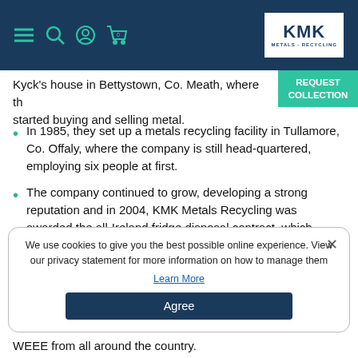KMK Metals Recycling navigation header
Kyck’s house in Bettystown, Co. Meath, where th… started buying and selling metal.
In 1985, they set up a metals recycling facility in Tullamore, Co. Offaly, where the company is still head-quartered, employing six people at first.
The company continued to grow, developing a strong reputation and in 2004, KMK Metals Recycling was awarded the all-Ireland fridge disposal contract, which accelerated its expansion.
Improved regulation of the collection, recycling and disposal of WEEE has been law at European level since
We use cookies to give you the best possible online experience. View our privacy statement for more information on how to manage them
WEEE from all around the country.